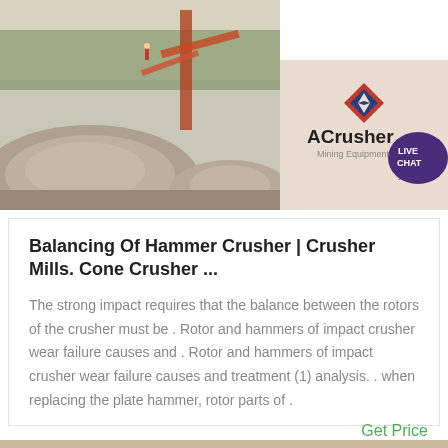[Figure (photo): Mining/quarry site photo with gravel piles, machinery and orange conveyor structures on the left; ACrusher Mining Equipment logo with diamond-shaped red/blue icon and 'LIVE CHAT' bubble on the right]
Balancing Of Hammer Crusher | Crusher Mills. Cone Crusher ...
The strong impact requires that the balance between the rotors of the crusher must be . Rotor and hammers of impact crusher wear failure causes and . Rotor and hammers of impact crusher wear failure causes and treatment (1) analysis. . when replacing the plate hammer, rotor parts of .
Get Price